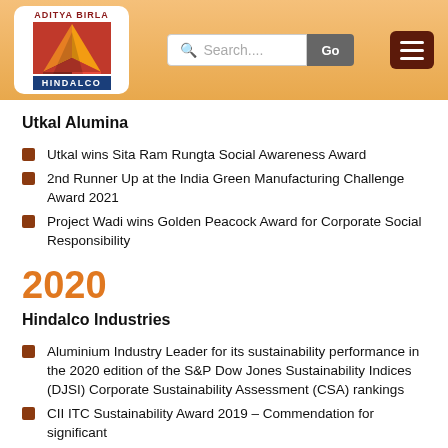[Figure (logo): Aditya Birla Hindalco logo with search bar and hamburger menu navigation header]
Utkal Alumina
Utkal wins Sita Ram Rungta Social Awareness Award
2nd Runner Up at the India Green Manufacturing Challenge Award 2021
Project Wadi wins Golden Peacock Award for Corporate Social Responsibility
2020
Hindalco Industries
Aluminium Industry Leader for its sustainability performance in the 2020 edition of the S&P Dow Jones Sustainability Indices (DJSI) Corporate Sustainability Assessment (CSA) rankings
CII ITC Sustainability Award 2019 – Commendation for significant